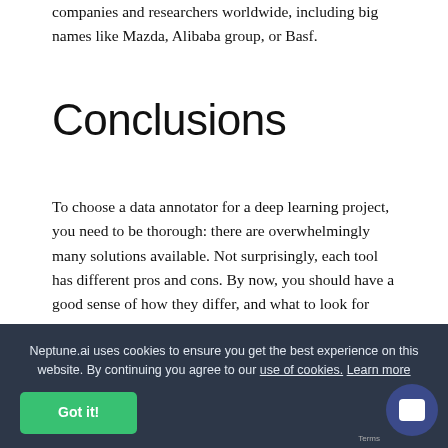companies and researchers worldwide, including big names like Mazda, Alibaba group, or Basf.
Conclusions
To choose a data annotator for a deep learning project, you need to be thorough: there are overwhelmingly many solutions available. Not surprisingly, each tool has different pros and cons. By now, you should have a good sense of how they differ, and what to look for depending on your needs.
We've gone over five candidates for consideration, looking at them from your decision perspective: use of cookies. Learn more notation g, application type and, of course, pric
Neptune.ai uses cookies to ensure you get the best experience on this website. By continuing you agree to our perspective use of cookies. Learn more notation and, of course, price